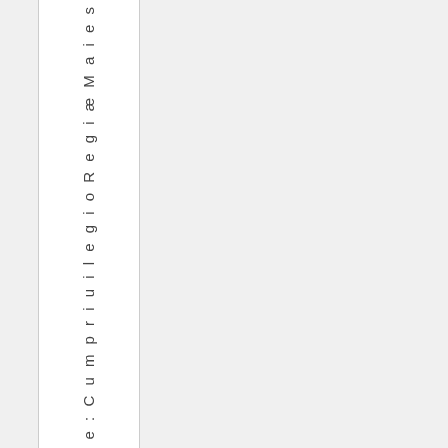title: Cumpriuilegio Regiæ Maies